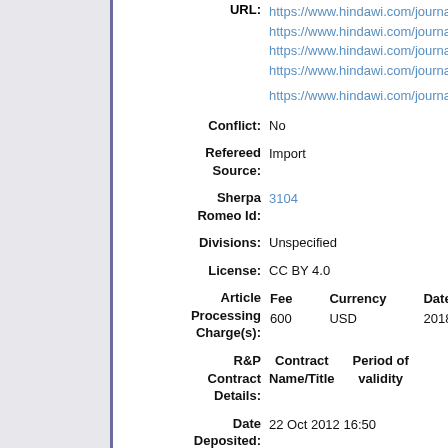URL: https://www.hindawi.com/journals/
https://www.hindawi.com/journals/
https://www.hindawi.com/journals/
https://www.hindawi.com/journals/

https://www.hindawi.com/journals/
Conflict: No
Refereed Source: Import
Sherpa Romeo Id: 3104
Divisions: Unspecified
License: CC BY 4.0
| Fee | Currency | Date |
| --- | --- | --- |
| 600 | USD | 2018 |
| Contract Name/Title | Period of validity |
| --- | --- |
Date Deposited: 22 Oct 2012 16:50
Last Modified: 13 Aug 2022 00:18